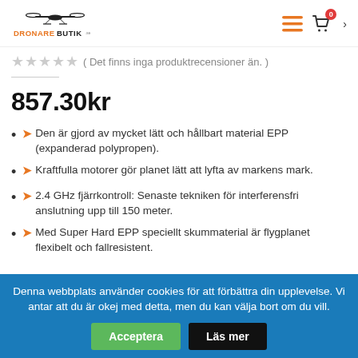DRONAREBUTIK.se logo, hamburger menu, cart icon with badge 0, chevron
( Det finns inga produktrecensioner än. )
857.30kr
✈ Den är gjord av mycket lätt och hållbart material EPP (expanderad polypropen).
✈ Kraftfulla motorer gör planet lätt att lyfta av markens mark.
✈ 2.4 GHz fjärrkontroll: Senaste tekniken för interferensfri anslutning upp till 150 meter.
✈ Med Super Hard EPP speciellt skummaterial är flygplanet flexibelt och fallresistent.
Denna webbplats använder cookies för att förbättra din upplevelse. Vi antar att du är okej med detta, men du kan välja bort om du vill. Acceptera Läs mer